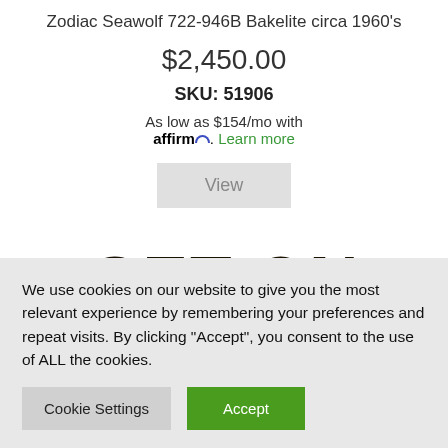Zodiac Seawolf 722-946B Bakelite circa 1960's
$2,450.00
SKU: 51906
As low as $154/mo with affirm. Learn more
View
GET ON OUR LIST
We use cookies on our website to give you the most relevant experience by remembering your preferences and repeat visits. By clicking “Accept”, you consent to the use of ALL the cookies.
Cookie Settings
Accept